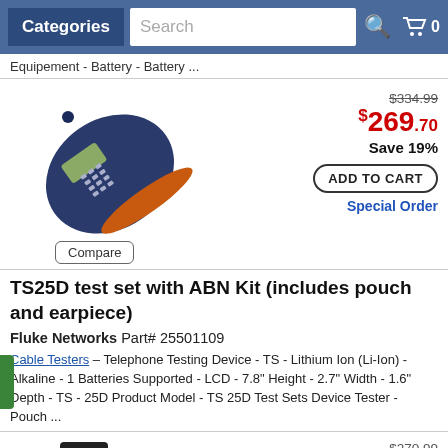Categories | Search | 0
Equipement - Battery - Battery ...
[Figure (photo): TS25D test set handheld telephone testing device, dark blue/navy color with keypad and LCD display]
$334.99 (strikethrough) $269.70 Save 19% ADD TO CART Special Order Compare
TS25D test set with ABN Kit (includes pouch and earpiece)
Fluke Networks Part# 25501109
Cable Testers – Telephone Testing Device - TS - Lithium Ion (Li-Ion) - Alkaline - 1 Batteries Supported - LCD - 7.8" Height - 2.7" Width - 1.6" Depth - TS - 25D Product Model - TS 25D Test Sets Device Tester - Pouch ...
[Figure (photo): Yellow handheld cable tester device, partial view]
$270.99 (strikethrough) $223.84 Save 20%